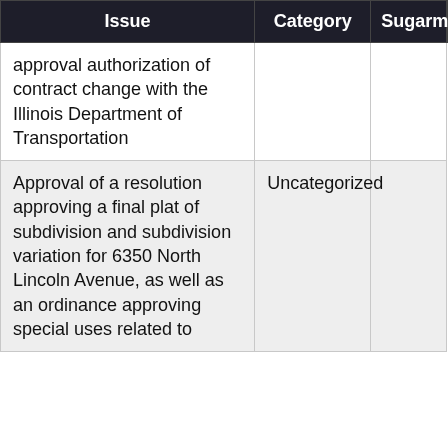| Issue | Category | Sugarman | S |
| --- | --- | --- | --- |
| approval authorization of contract change with the Illinois Department of Transportation |  |  |  |
| Approval of a resolution approving a final plat of subdivision and subdivision variation for 6350 North Lincoln Avenue, as well as an ordinance approving special uses related to | Uncategorized |  |  |